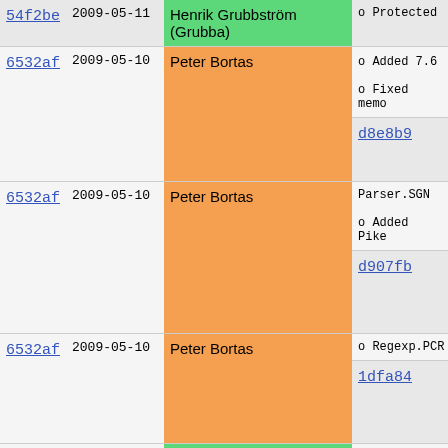| Hash | Date | Author |  | Description |
| --- | --- | --- | --- | --- |
| 54f2be | 2009-05-11 | Henrik Grubbström (Grubba) |  | o Protected |
| 6532af | 2009-05-10 | Peter Bortas |  | o Added 7.6
o Fixed memo |
| d8e8b9 | 2009-05-31 | Henrik Grubbström (Grubba) |  | o Parser.SGM
became Par |
| 6532af | 2009-05-10 | Peter Bortas |  | Parser.SGN
o Added Pike |
| d907fb | 2009-05-11 | Henrik Grubbström (Grubba) |  | o Fixed race
--without- |
| 6532af | 2009-05-10 | Peter Bortas |  | o Regexp.PCR |
| 1dfa84 | 2009-05-30 | Peter Bortas |  | o Reduced th
out-of-sta |
| d8e8b9 | 2009-05-31 | Henrik Grubbström (Grubba) |  | o Fixed bug
long for s |
| 1dfa84 | 2009-05-30 | Peter Bortas |  |  |
| 7c2386 | 2009-06-08 | Peter Bortas |  | o Made Proce |